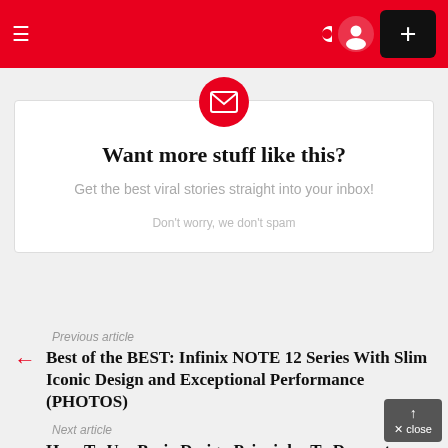≡ navigation bar with menu, dark mode, user, and + button
Want more stuff like this?
Get the best viral stories straight into your inbox!
Don't worry, we don't spam
Previous article
Best of the BEST: Infinix NOTE 12 Series With Slim Iconic Design and Exceptional Performance (PHOTOS)
Next article
How To Use Basic Design Principles To Decorate Your Home